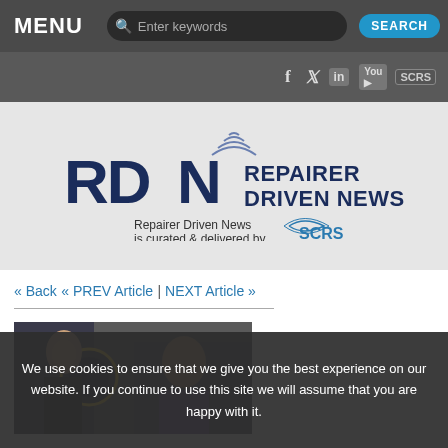MENU
[Figure (logo): RDN Repairer Driven News logo with SCRS branding on grey banner background]
« Back « PREV Article | NEXT Article »
[Figure (photo): Partial photo of people, appears to be an event or meeting scene]
We use cookies to ensure that we give you the best experience on our website. If you continue to use this site we will assume that you are happy with it.